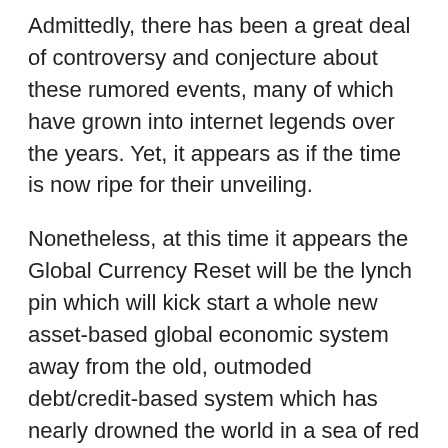Admittedly, there has been a great deal of controversy and conjecture about these rumored events, many of which have grown into internet legends over the years. Yet, it appears as if the time is now ripe for their unveiling.
Nonetheless, at this time it appears the Global Currency Reset will be the lynch pin which will kick start a whole new asset-based global economic system away from the old, outmoded debt/credit-based system which has nearly drowned the world in a sea of red ink. Many mainstream media reports have been hinting at such changes throughout 2013.
By all accounts, it appears as if the world has arrived at a point where all steps are ready to be triggered. The exact timing of this chain of events is unknown